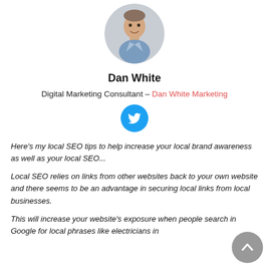[Figure (photo): Circular profile photo of Dan White, a man in a blue shirt, smiling, against a light background]
Dan White
Digital Marketing Consultant – Dan White Marketing
[Figure (logo): Circular blue Twitter bird icon]
Here's my local SEO tips to help increase your local brand awareness as well as your local SEO...
Local SEO relies on links from other websites back to your own website and there seems to be an advantage in securing local links from local businesses.
This will increase your website's exposure when people search in Google for local phrases like electricians in